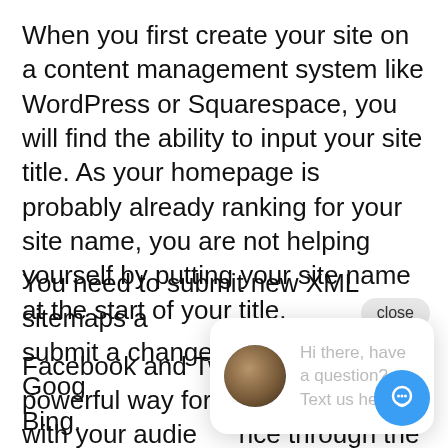When you first create your site on a content management system like WordPress or Squarespace, you will find the ability to input your site title. As your homepage is probably already ranking for your site name, you are not helping yourself by putting your site name at the start of your title.
Facebook and Twitter provide a powerful way for you to engage with your audience through the content you post.
An authoritat ranking or lin site.
You need to submit new XML sitemaps a submit a change of address with Goog Bing.
[Figure (screenshot): Chat widget overlay showing a close button and a speech bubble with avatar photo and text 'Hi there, have a question? Text us here.' plus a blue circular chat button in the bottom right.]